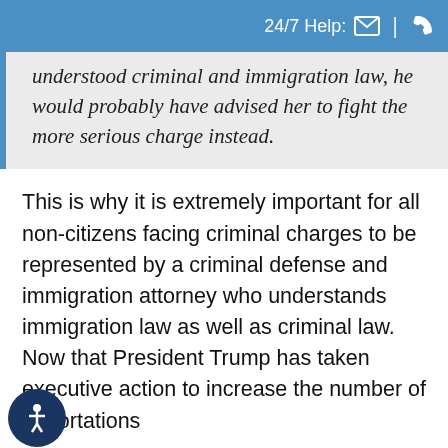24/7 Help:
understood criminal and immigration law, he would probably have advised her to fight the more serious charge instead.
This is why it is extremely important for all non-citizens facing criminal charges to be represented by a criminal defense and immigration attorney who understands immigration law as well as criminal law. Now that President Trump has taken executive action to increase the number of deportations